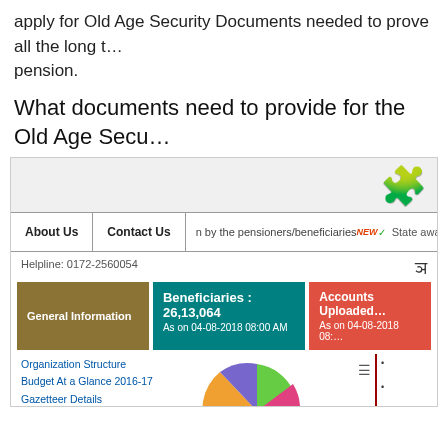apply for Old Age Security Documents needed to prove all the long t… pension.
What documents need to provide for the Old Age Secu…
[Figure (screenshot): Screenshot of a government pension portal website showing navigation bar with 'About Us' and 'Contact Us' links, helpline number 0172-2560054, colored info boxes for General Information, Beneficiaries (26,13,064 as on 04-08-2018 08:00 AM), Accounts Uploaded (as on 04-08-2018 08:…), a pie chart showing distribution of beneficiaries by category, and a left sidebar with links including Organization Structure, Budget At a Glance 2016-17, Gazetteer Details, Notifications & Orders, News/Advertisements, Telephone Numbers and Offices/Institutes, Application Forms, RTI Act.]